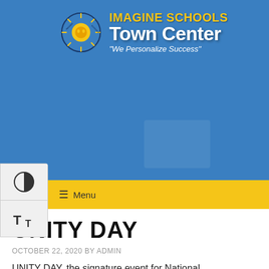[Figure (logo): Imagine Schools Town Center logo with sun graphic and text 'IMAGINE SCHOOLS Town Center We Personalize Success' on blue background]
[Figure (screenshot): Accessibility sidebar with contrast toggle button (half-circle icon) and text size toggle button (T icon)]
Menu
UNITY DAY
OCTOBER 22, 2020 BY ADMIN
UNITY DAY, the signature event for National